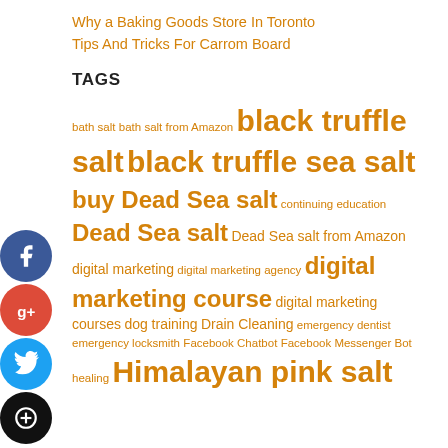Why a Baking Goods Store In Toronto
Tips And Tricks For Carrom Board
TAGS
bath salt bath salt from Amazon black truffle salt black truffle sea salt buy Dead Sea salt continuing education Dead Sea salt Dead Sea salt from Amazon digital marketing digital marketing agency digital marketing course digital marketing courses dog training Drain Cleaning emergency dentist emergency locksmith Facebook Chatbot Facebook Messenger Bot healing Himalayan pink salt